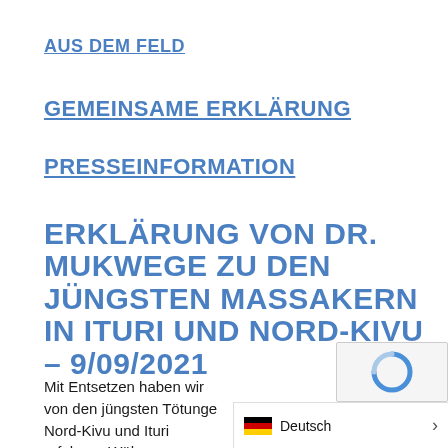AUS DEM FELD
GEMEINSAME ERKLÄRUNG
PRESSEINFORMATION
ERKLÄRUNG VON DR. MUKWEGE ZU DEN JÜNGSTEN MASSAKERN IN ITURI UND NORD-KIVU - 9/09/2021
Mit Entsetzen haben wir von den jüngsten Tötungen in Nord-Kivu und Ituri erfahren. Wäh… 2021 mindestens 19 Zivilisten im…